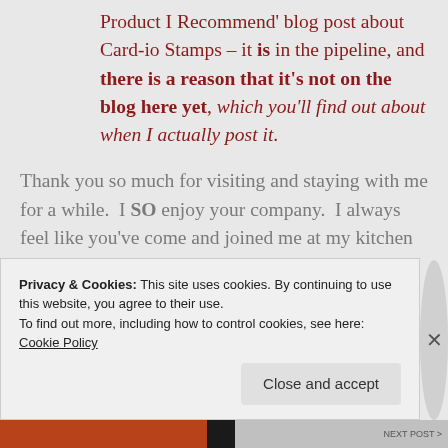Product I Recommend' blog post about Card-io Stamps – it is in the pipeline, and there is a reason that it's not on the blog here yet, which you'll find out about when I actually post it.
Thank you so much for visiting and staying with me for a while. I SO enjoy your company. I always feel like you've come and joined me at my kitchen table, and shared a coffee with me while we've had a good ol' chat and a few giggles about
Privacy & Cookies: This site uses cookies. By continuing to use this website, you agree to their use.
To find out more, including how to control cookies, see here: Cookie Policy